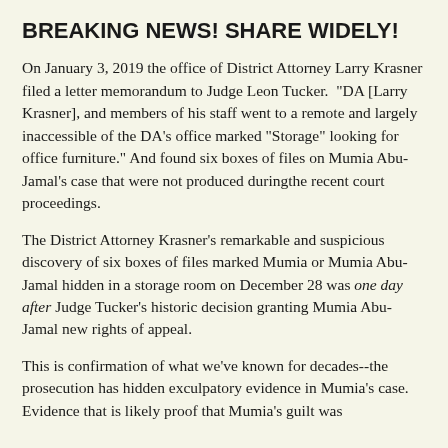BREAKING NEWS! SHARE WIDELY!
On January 3, 2019 the office of District Attorney Larry Krasner filed a letter memorandum to Judge Leon Tucker.  "DA [Larry Krasner], and members of his staff went to a remote and largely inaccessible of the DA's office marked "Storage" looking for office furniture." And found six boxes of files on Mumia Abu-Jamal's case that were not produced duringthe recent court proceedings.
The District Attorney Krasner's remarkable and suspicious discovery of six boxes of files marked Mumia or Mumia Abu-Jamal hidden in a storage room on December 28 was one day after Judge Tucker's historic decision granting Mumia Abu-Jamal new rights of appeal.
This is confirmation of what we've known for decades--the prosecution has hidden exculpatory evidence in Mumia's case.  Evidence that is likely proof that Mumia's guilt was